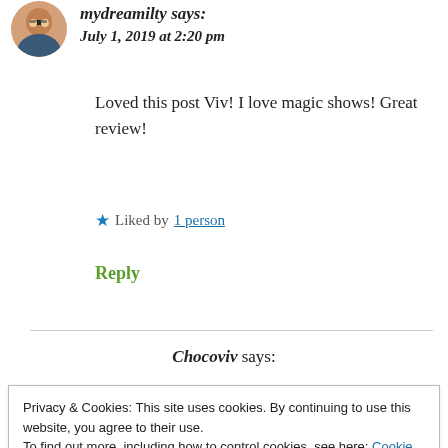[Figure (photo): Avatar/profile picture of user mydreamilty, showing a woman with glasses and brown hair]
mydreamilty says:
July 1, 2019 at 2:20 pm
Loved this post Viv! I love magic shows! Great review!
★ Liked by 1 person
Reply
Chocoviv says:
Privacy & Cookies: This site uses cookies. By continuing to use this website, you agree to their use.
To find out more, including how to control cookies, see here: Cookie Policy
Close and accept